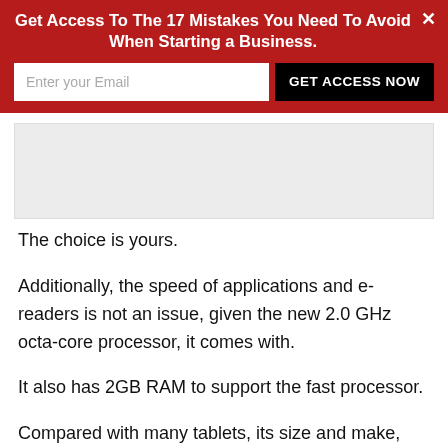Get Access To The 17 Mistakes You Need To Avoid When Starting a Business.
The choice is yours.
Additionally, the speed of applications and e-readers is not an issue, given the new 2.0 GHz octa-core processor, it comes with.
It also has 2GB RAM to support the fast processor.
Compared with many tablets, its size and make,